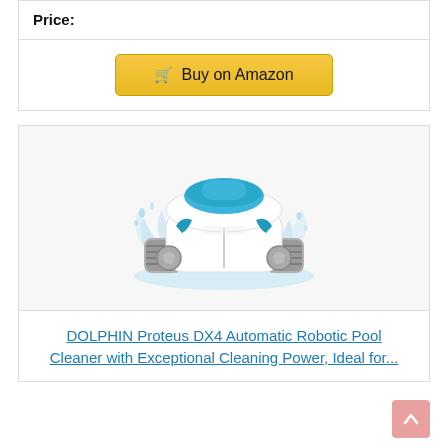Price:
Buy on Amazon
[Figure (photo): Dolphin Proteus DX4 robotic pool cleaner shown emerging from water with splash effects, white and blue body with gray treads]
DOLPHIN Proteus DX4 Automatic Robotic Pool Cleaner with Exceptional Cleaning Power, Ideal for...